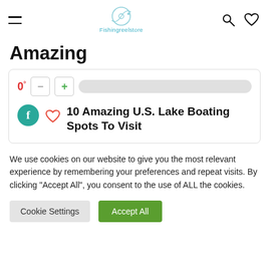Fishingreelstore
Amazing
[Figure (screenshot): A card UI element showing a count of 0° with minus and plus buttons and a progress bar, below which is a Facebook share icon, a heart/like icon, and the title '10 Amazing U.S. Lake Boating Spots To Visit']
We use cookies on our website to give you the most relevant experience by remembering your preferences and repeat visits. By clicking “Accept All”, you consent to the use of ALL the cookies.
Cookie Settings    Accept All